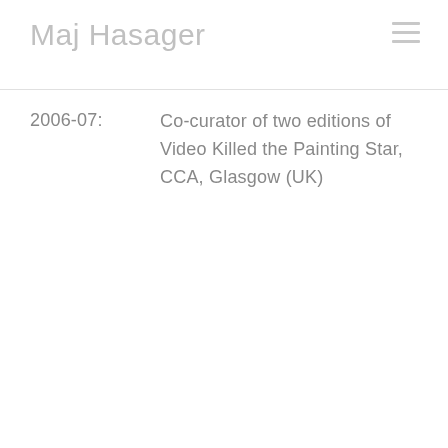Maj Hasager
2006-07: Co-curator of two editions of Video Killed the Painting Star, CCA, Glasgow (UK)